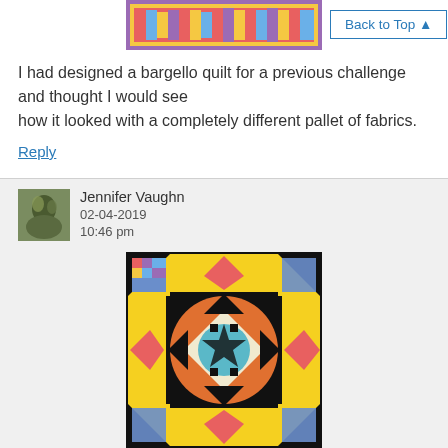[Figure (photo): Bargello quilt strip with colorful fabric columns in purple, yellow, red, blue and other colors]
Back to Top ▲
I had designed a bargello quilt for a previous challenge and thought I would see how it looked with a completely different pallet of fabrics.
Reply
[Figure (photo): Small avatar photo of commenter Jennifer Vaughn showing a nature/plant image]
Jennifer Vaughn
02-04-2019
10:46 pm
[Figure (photo): Complex quilt block with yellow border, black triangles in corners, colorful corner squares, orange center circle with cream diamond and teal medallion center]
These fabrics provided just the challenge I needed to get out of my